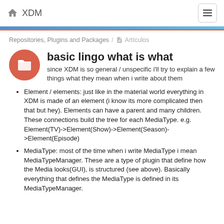⌂ XDM
Repositories, Plugins and Packages / 📄 Artículos
basic lingo what is what
since XDM is so general / unspecific i'll try to explain a few things what they mean when i write about them
Element / elements: just like in the material world everything in XDM is made of an element (i know its more complicated then that but hey). Elements can have a parent and many children. These connections build the tree for each MediaType. e.g. Element(TV)->Element(Show)->Element(Season)->Element(Episode)
MediaType: most of the time when i write MediaType i mean MediaTypeManager. These are a type of plugin that define how the Media looks(GUI), is structured (see above). Basically everything that defines the MediaType is defined in its MediaTypeManager.